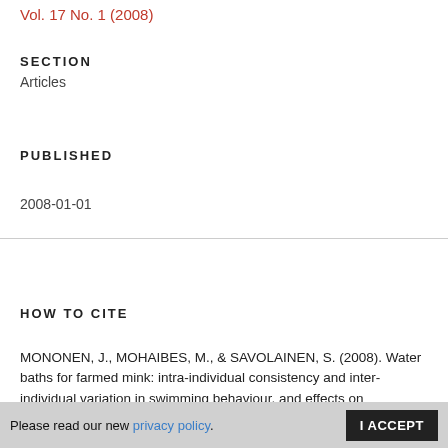Vol. 17 No. 1 (2008)
SECTION
Articles
PUBLISHED
2008-01-01
HOW TO CITE
MONONEN, J., MOHAIBES, M., & SAVOLAINEN, S. (2008). Water baths for farmed mink: intra-individual consistency and inter-individual variation in swimming behaviour, and effects on stereotyped behaviour. Agricultural and Food Science, 17(1), 41–52. https://doi.org/10.2137/145960608784182254
Please read our new privacy policy.